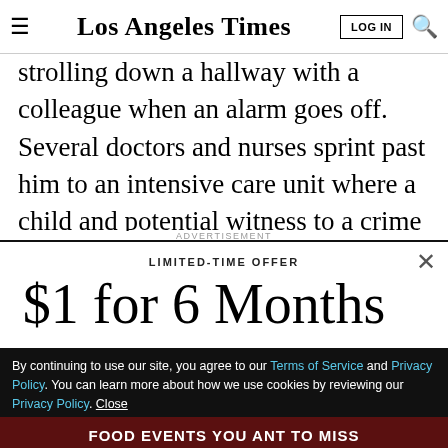Los Angeles Times | LOG IN
strolling down a hallway with a colleague when an alarm goes off. Several doctors and nurses sprint past him to an intensive care unit where a child and potential witness to a crime is being treated.
ADVERTISEMENT
LIMITED-TIME OFFER
$1 for 6 Months
SUBSCRIBE NOW
By continuing to use our site, you agree to our Terms of Service and Privacy Policy. You can learn more about how we use cookies by reviewing our Privacy Policy. Close